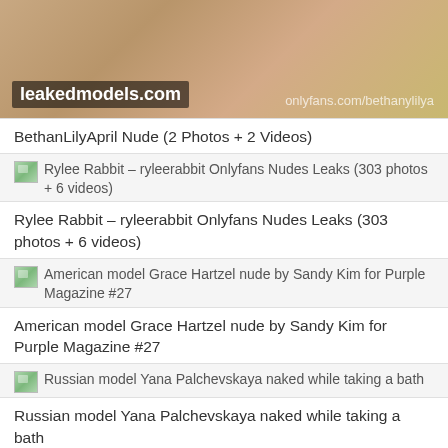[Figure (photo): Blurred/cropped photo with leakedmodels.com watermark and onlyfans.com/bethanylilya watermark]
BethanLilyApril Nude (2 Photos + 2 Videos)
[Figure (thumbnail): Small thumbnail image for Rylee Rabbit article]
Rylee Rabbit – ryleerabbit Onlyfans Nudes Leaks (303 photos + 6 videos)
Rylee Rabbit – ryleerabbit Onlyfans Nudes Leaks (303 photos + 6 videos)
[Figure (thumbnail): Small thumbnail image for Grace Hartzel article]
American model Grace Hartzel nude by Sandy Kim for Purple Magazine #27
American model Grace Hartzel nude by Sandy Kim for Purple Magazine #27
[Figure (thumbnail): Small thumbnail image for Yana Palchevskaya article]
Russian model Yana Palchevskaya naked while taking a bath
Russian model Yana Palchevskaya naked while taking a bath
[Figure (thumbnail): Small thumbnail image for OnlyFans Milana article]
OnlyFans Milana AKA charming_girl leaked nude the fappening